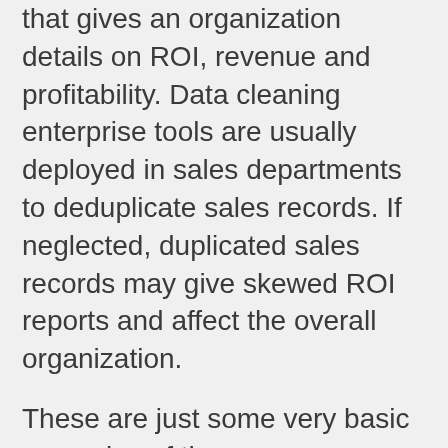that gives an organization details on ROI, revenue and profitability. Data cleaning enterprise tools are usually deployed in sales departments to deduplicate sales records. If neglected, duplicated sales records may give skewed ROI reports and affect the overall organization.
These are just some very basic examples of the consequences of bad data. The day-to-day struggles companies have with bad data are deeply ingrained in company processes and take considerable effort from managers and executives to solve.
If an organization makes data cleaning as a priority, they will be able to avoid all these problems and avail the benefits of high-quality,